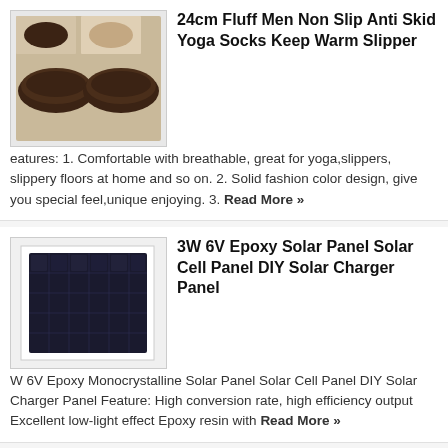[Figure (photo): Dark brown slip-on yoga socks/slippers shown from multiple angles]
24cm Fluff Men Non Slip Anti Skid Yoga Socks Keep Warm Slipper
eatures: 1. Comfortable with breathable, great for yoga,slippers, slippery floors at home and so on. 2. Solid fashion color design, give you special feel,unique enjoying. 3. Read More »
[Figure (photo): Dark blue/black square solar panel on white background]
3W 6V Epoxy Solar Panel Solar Cell Panel DIY Solar Charger Panel
W 6V Epoxy Monocrystalline Solar Panel Solar Cell Panel DIY Solar Charger Panel Feature: High conversion rate, high efficiency output Excellent low-light effect Epoxy resin with Read More »
[Figure (photo): White stainless steel pasta ruler/measurer with circular holes on white background]
Stainless Steel Pasta Ruler Spaghetti Measurer Noodles Limiter Measuring Tool
Stainless Steel Pasta Ruler Spaghetti Measurer Noodles Limiter Measuring Tool   Accurately and easily measures one to four adult portions of spaghetti. Beautifully polished stainless Read More »